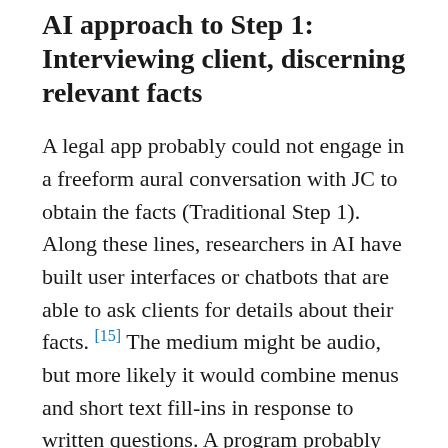AI approach to Step 1: Interviewing client, discerning relevant facts
A legal app probably could not engage in a freeform aural conversation with JC to obtain the facts (Traditional Step 1). Along these lines, researchers in AI have built user interfaces or chatbots that are able to ask clients for details about their facts. [15] The medium might be audio, but more likely it would combine menus and short text fill-ins in response to written questions. A program probably cannot yet interpret a client's audio rendition of their problem scenario due to its length and the tendency of humans to speak in sentence fragments and sometimes ungrammatically or